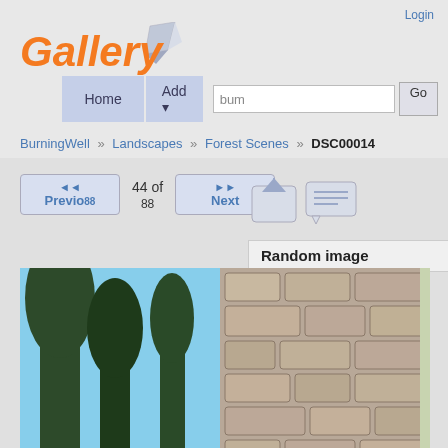Login
[Figure (logo): Gallery logo with orange italic text and pencil/rocket icon]
Home   Add   [search box: bum]   Go
BurningWell » Landscapes » Forest Scenes » DSC00014
<< 44 of 88   Next >>   Previous
[Figure (other): Upload and comment icon buttons]
Random image
[Figure (photo): Main photo showing forest trees on left and stone wall on right, split view]
Popular tags
animal  blue  building, bump